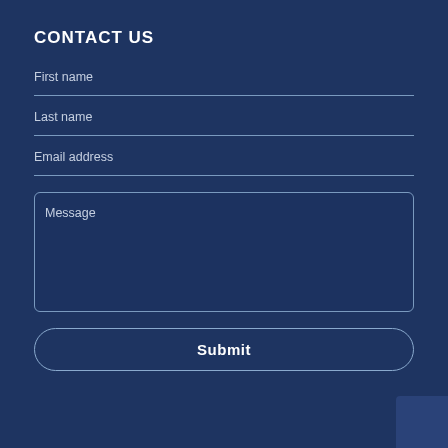CONTACT US
First name
Last name
Email address
Message
Submit